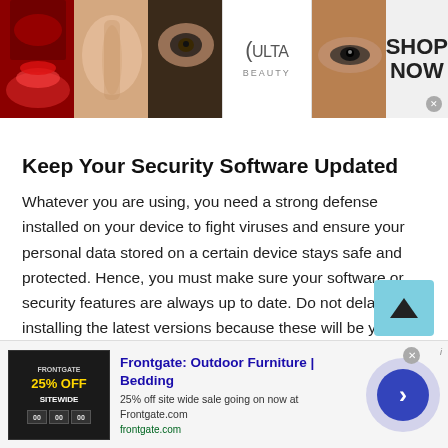[Figure (photo): Ulta Beauty advertisement banner with makeup photos, Ulta logo, and SHOP NOW call to action]
Keep Your Security Software Updated
Whatever you are using, you need a strong defense installed on your device to fight viruses and ensure your personal data stored on a certain device stays safe and protected. Hence, you must make sure your software or security features are always up to date. Do not delay installing the latest versions because these will be your main defense against any virus that you might encounter while using a platform for Gabonese Phone Chat.
[Figure (other): Frontgate Outdoor Furniture advertisement banner with 25% off sitewide sale promotion at frontgate.com]